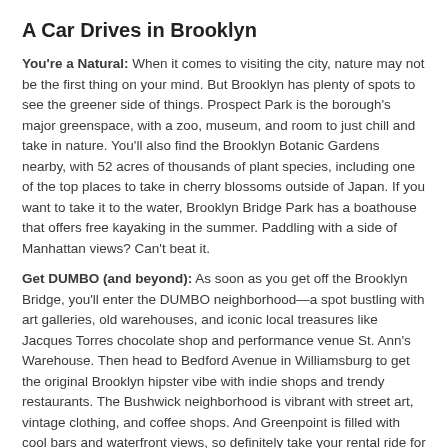A Car Drives in Brooklyn
You're a Natural: When it comes to visiting the city, nature may not be the first thing on your mind. But Brooklyn has plenty of spots to see the greener side of things. Prospect Park is the borough's major greenspace, with a zoo, museum, and room to just chill and take in nature. You'll also find the Brooklyn Botanic Gardens nearby, with 52 acres of thousands of plant species, including one of the top places to take in cherry blossoms outside of Japan. If you want to take it to the water, Brooklyn Bridge Park has a boathouse that offers free kayaking in the summer. Paddling with a side of Manhattan views? Can't beat it.
Get DUMBO (and beyond): As soon as you get off the Brooklyn Bridge, you'll enter the DUMBO neighborhood—a spot bustling with art galleries, old warehouses, and iconic local treasures like Jacques Torres chocolate shop and performance venue St. Ann's Warehouse. Then head to Bedford Avenue in Williamsburg to get the original Brooklyn hipster vibe with indie shops and trendy restaurants. The Bushwick neighborhood is vibrant with street art, vintage clothing, and coffee shops. And Greenpoint is filled with cool bars and waterfront views, so definitely take your rental ride for a cruise to that side of the Borough.
Make a Scene: You've got your car rental in Brooklyn, NY, so